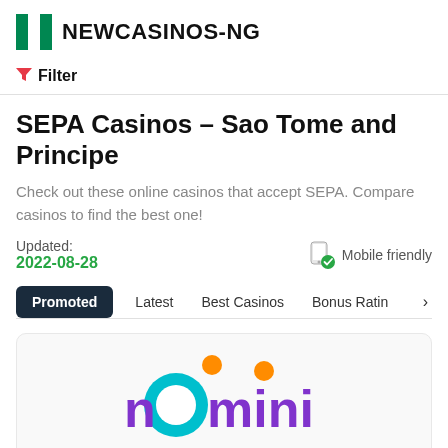NEWCASINOS-NG
Filter
SEPA Casinos - Sao Tome and Principe
Check out these online casinos that accept SEPA. Compare casinos to find the best one!
Updated: 2022-08-28  Mobile friendly
Promoted  Latest  Best Casinos  Bonus Rating
[Figure (logo): Nomini casino logo in purple and teal colors with orange dots]
Launched 08.Mar.2020   3 stars